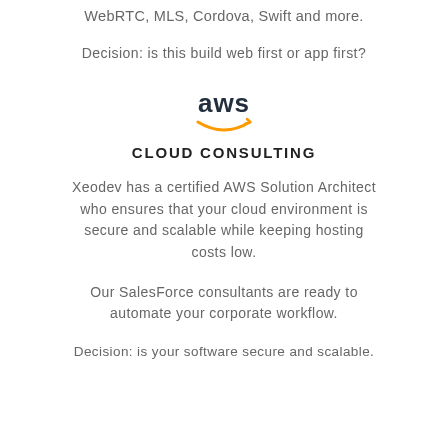WebRTC, MLS, Cordova, Swift and more.
Decision: is this build web first or app first?
[Figure (logo): AWS logo with orange/blue smile arrow beneath 'aws' text]
CLOUD CONSULTING
Xeodev has a certified AWS Solution Architect who ensures that your cloud environment is secure and scalable while keeping hosting costs low.
Our SalesForce consultants are ready to automate your corporate workflow.
Decision: is your software secure and scalable.